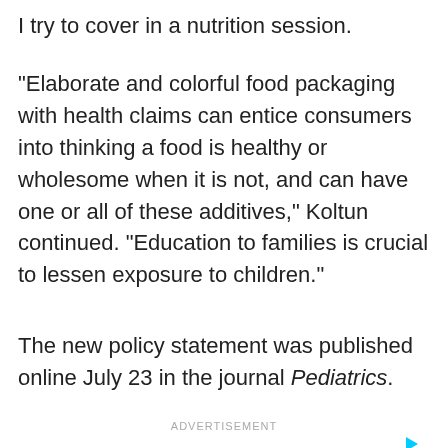I try to cover in a nutrition session.
"Elaborate and colorful food packaging with health claims can entice consumers into thinking a food is healthy or wholesome when it is not, and can have one or all of these additives," Koltun continued. "Education to families is crucial to lessen exposure to children."
The new policy statement was published online July 23 in the journal Pediatrics.
ADVERTISEMENT
[Figure (other): Black advertisement banner with AdChoices label and close button]
ADVERTISEMENT